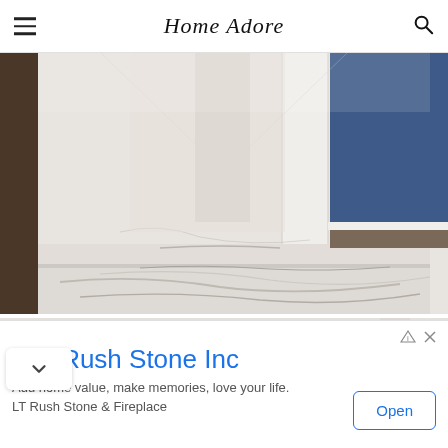Home Adore
[Figure (photo): Interior marble staircase and hallway with white veined marble flooring and steps, white pillar, dark wood accents, and a blue wall visible in the background]
[Figure (photo): Partial view of a room with light walls and a small gold/bronze rectangular element visible, suggesting another interior space with marble or light stone surfaces]
L.T. Rush Stone Inc
Add home value, make memories, love your life.
LT Rush Stone & Fireplace